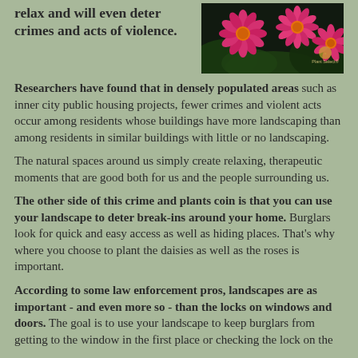relax and will even deter crimes and acts of violence.
[Figure (photo): Close-up photograph of bright pink/magenta daisy-like flowers against a dark background, with a Plant Select® watermark in the bottom right corner.]
Researchers have found that in densely populated areas such as inner city public housing projects, fewer crimes and violent acts occur among residents whose buildings have more landscaping than among residents in similar buildings with little or no landscaping.
The natural spaces around us simply create relaxing, therapeutic moments that are good both for us and the people surrounding us.
The other side of this crime and plants coin is that you can use your landscape to deter break-ins around your home. Burglars look for quick and easy access as well as hiding places. That's why where you choose to plant the daisies as well as the roses is important.
According to some law enforcement pros, landscapes are as important - and even more so - than the locks on windows and doors. The goal is to use your landscape to keep burglars from getting to the window in the first place or checking the lock on the door.